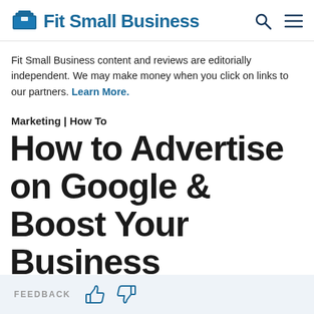Fit Small Business
Fit Small Business content and reviews are editorially independent. We may make money when you click on links to our partners. Learn More.
Marketing | How To
How to Advertise on Google & Boost Your Business
FEEDBACK